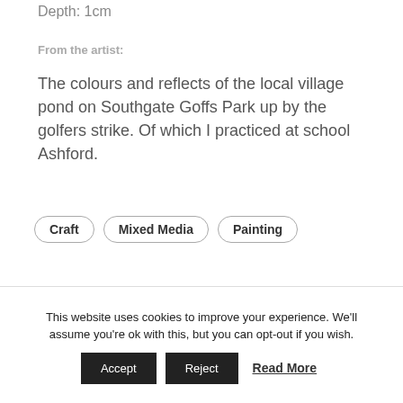Depth: 1cm
From the artist:
The colours and reflects of the local village pond on Southgate Goffs Park up by the golfers strike. Of which I practiced at school Ashford.
Craft
Mixed Media
Painting
This website uses cookies to improve your experience. We'll assume you're ok with this, but you can opt-out if you wish.
Accept  Reject  Read More